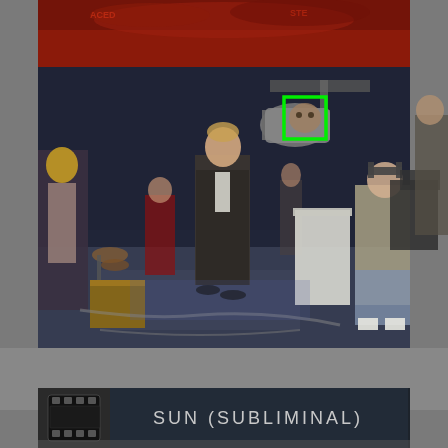[Figure (screenshot): A movie or TV production scene showing a film set with people, a man in a suit in the center, a film crew with camera equipment on the right, and a green bounding box around an object mounted on a light fixture. The top portion shows a dark red/orange dramatic backdrop. Below the main image is a dark bar at the bottom with a film strip icon and the text 'SUN (SUBLIMINAL)'.]